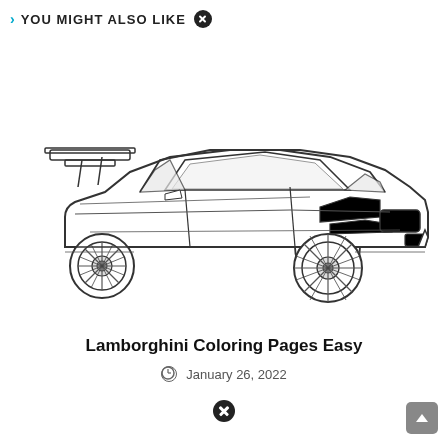YOU MIGHT ALSO LIKE
[Figure (illustration): Line drawing / coloring page outline of a Lamborghini Gallardo sports car viewed from a front-three-quarter angle, showing large rear spoiler, detailed alloy wheels, and angular body panels. Black and white outline style suitable for coloring.]
Lamborghini Coloring Pages Easy
January 26, 2022